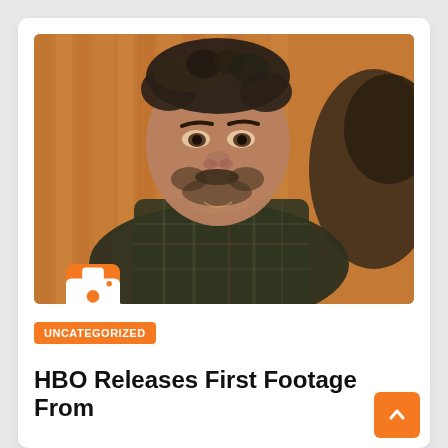[Figure (photo): A man with short dark hair and a beard/mustache stares intensely. He wears a dark plaid flannel shirt. The background shows warm wooden vertical paneling in orange/brown tones. Another figure is partially visible out of focus on the right. An orange camera icon badge is overlaid in the lower left of the image.]
UNCATEGORIZED
HBO Releases First Footage From